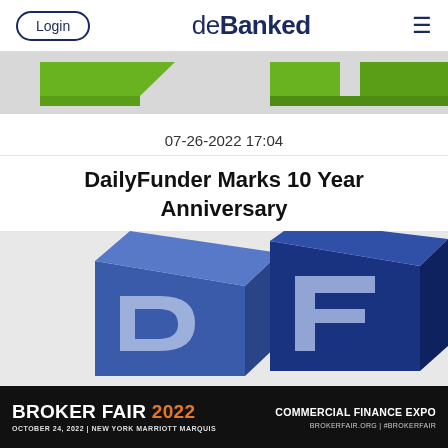Login | deBanked | ☰
[Figure (illustration): Partial green and grey decorative banner graphic at top of page]
07-26-2022 17:04
DailyFunder Marks 10 Year Anniversary
[Figure (logo): DailyFunder logo showing blue 3D block letters D and F]
BROKER FAIR 2022 | OCTOBER 24, 2022 | NEW YORK MARRIOTT MARQUIS | COMMERCIAL FINANCE EXPO | BROKERFAIR.ORG | #BROKERFAIR